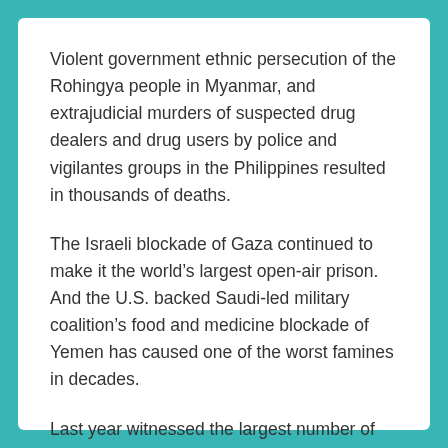Violent government ethnic persecution of the Rohingya people in Myanmar, and extrajudicial murders of suspected drug dealers and drug users by police and vigilantes groups in the Philippines resulted in thousands of deaths.
The Israeli blockade of Gaza continued to make it the world’s largest open-air prison. And the U.S. backed Saudi-led military coalition’s food and medicine blockade of Yemen has caused one of the worst famines in decades.
Last year witnessed the largest number of displaced persons since World War II – over 65 million people were forced to flee from armed conflicts and persecution.